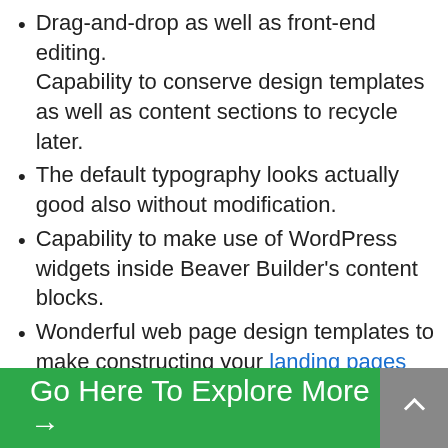Drag-and-drop as well as front-end editing.
Capability to conserve design templates as well as content sections to recycle later.
The default typography looks actually good also without modification.
Capability to make use of WordPress widgets inside Beaver Builder’s content blocks.
Wonderful web page design templates to make constructing your landing pages and also material web pages quicker.
Go Here To Explore More →